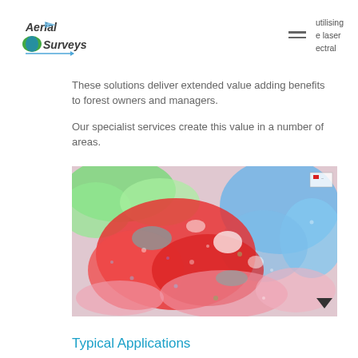Aerial Surveys | utilising the laser spectral
These solutions deliver extended value adding benefits to forest owners and managers.
Our specialist services create this value in a number of areas.
[Figure (map): False-colour aerial/remote sensing map showing forest classification with red, blue, green and white colour patches representing different forest types or health classifications. A small legend is visible in the top-right corner.]
Typical Applications